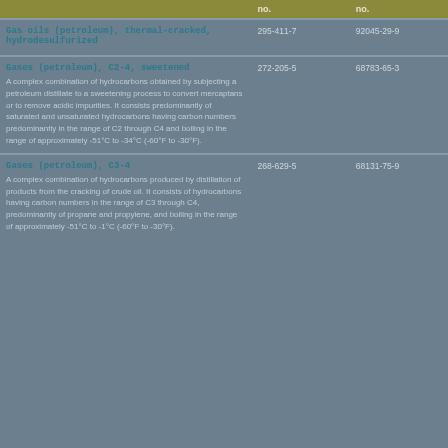|  | no. | no. |
| --- | --- | --- |
| Gas oils (petroleum), thermal-cracked, hydrodesulfurized | 295-411-7 | 92045-29-9 |
| Gases (petroleum), C2-4, sweetened
A complex combination of hydrocarbons obtained by subjecting a petroleum distillate to a sweetening process to convert mercaptans or to remove acidic impurities. It consists predominantly of saturated and unsaturated hydrocarbons having carbon numbers predominantly in the range of C2 through C4 and boiling in the range of approximately -51°C to -34°C (-60°F to -30°F). | 272-205-5 | 68783-65-3 |
| Gases (petroleum), C3-4
A complex combination of hydrocarbons produced by distillation of products from the cracking of crude oil. It consists of hydrocarbons having carbon numbers in the range of C3 through C4, predominantly of propane and propylene, and boiling in the range of approximately -51°C to -1°C (-60°F to -30°F). | 268-629-5 | 68131-75-9 |